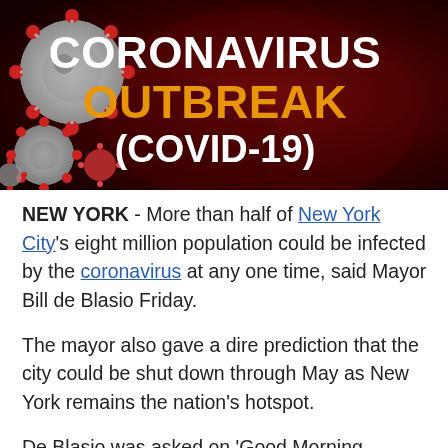[Figure (photo): Coronavirus outbreak COVID-19 banner image showing 3D coronavirus particles on a dark red background with bold white and orange text reading CORONAVIRUS OUTBREAK (COVID-19)]
NEW YORK - More than half of New York City's eight million population could be infected by the coronavirus at any one time, said Mayor Bill de Blasio Friday.
The mayor also gave a dire prediction that the city could be shut down through May as New York remains the nation's hotspot.
De Blasio was asked on 'Good Morning America' if the